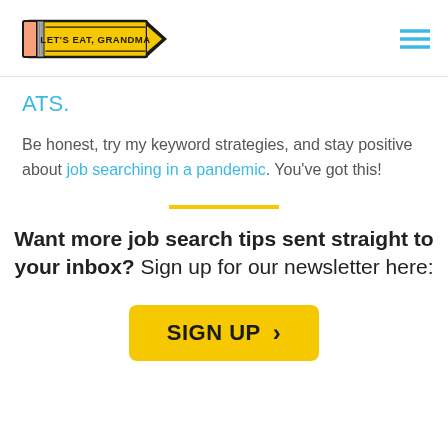Let's Eat, Grandma — navigation logo and menu
ATS.
Be honest, try my keyword strategies, and stay positive about job searching in a pandemic. You've got this!
Want more job search tips sent straight to your inbox? Sign up for our newsletter here:
SIGN UP >